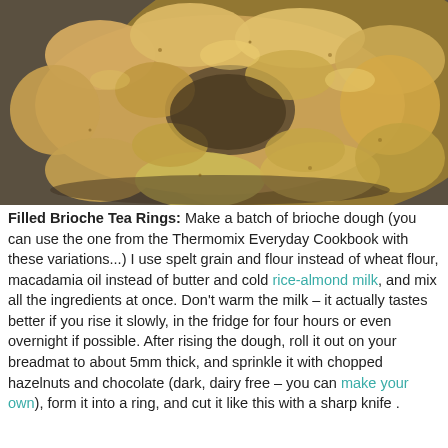[Figure (photo): A braided brioche tea ring loaf viewed from above, golden-brown baked bread shaped in a ring/wreath, on a dark surface with warm lighting.]
Filled Brioche Tea Rings:  Make a batch of brioche dough (you can use the one from the Thermomix Everyday Cookbook with these variations...)  I use spelt grain and flour instead of wheat flour, macadamia oil instead of butter and cold rice-almond milk, and mix all the ingredients at once.  Don't warm the milk – it actually tastes better if you rise it slowly, in the fridge for four hours or even overnight if possible. After rising the dough, roll it out on your breadmat to about 5mm thick, and sprinkle it with chopped hazelnuts and chocolate (dark, dairy free – you can make your own), form it into a ring, and cut it like this with a sharp knife .